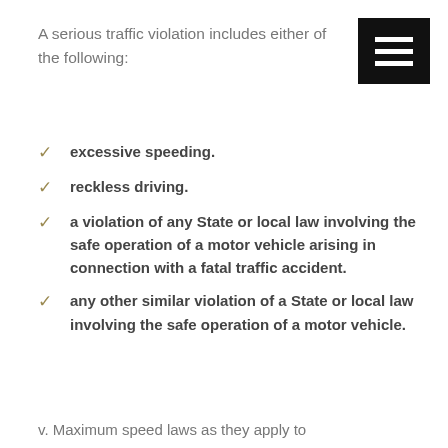A serious traffic violation includes either of the following:
excessive speeding.
reckless driving.
a violation of any State or local law involving the safe operation of a motor vehicle arising in connection with a fatal traffic accident.
any other similar violation of a State or local law involving the safe operation of a motor vehicle.
v. Maximum speed laws as they apply to